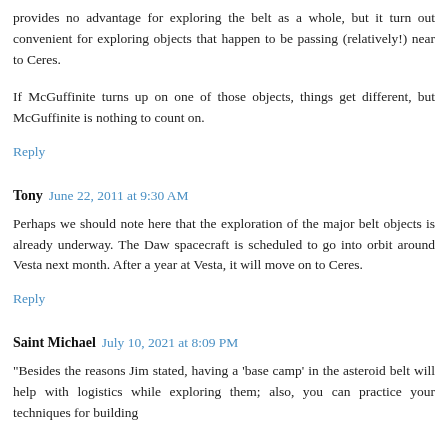provides no advantage for exploring the belt as a whole, but it turn out convenient for exploring objects that happen to be passing (relatively!) near to Ceres.
If McGuffinite turns up on one of those objects, things get different, but McGuffinite is nothing to count on.
Reply
Tony  June 22, 2011 at 9:30 AM
Perhaps we should note here that the exploration of the major belt objects is already underway. The Daw spacecraft is scheduled to go into orbit around Vesta next month. After a year at Vesta, it will move on to Ceres.
Reply
Saint Michael  July 10, 2021 at 8:09 PM
"Besides the reasons Jim stated, having a 'base camp' in the asteroid belt will help with logistics while exploring them; also, you can practice your techniques for building